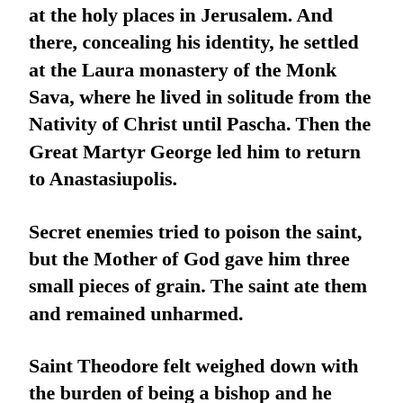at the holy places in Jerusalem. And there, concealing his identity, he settled at the Laura monastery of the Monk Sava, where he lived in solitude from the Nativity of Christ until Pascha. Then the Great Martyr George led him to return to Anastasiupolis.
Secret enemies tried to poison the saint, but the Mother of God gave him three small pieces of grain. The saint ate them and remained unharmed.
Saint Theodore felt weighed down with the burden of being a bishop and he besought the